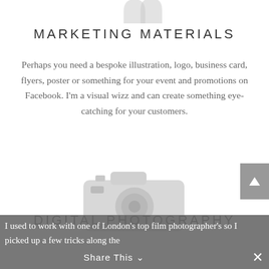[Figure (illustration): Partial decorative icon at top (cropped), light gray color]
MARKETING MATERIALS
Perhaps you need a bespoke illustration, logo, business card, flyers, poster or something for your event and promotions on Facebook. I'm a visual wizz and can create something eye-catching for your customers.
[Figure (illustration): Gray camera icon placeholder image]
DIGITAL PHOTOGRAPHY
I used to work with one of London's top film photographer's so I picked up a few tricks along the